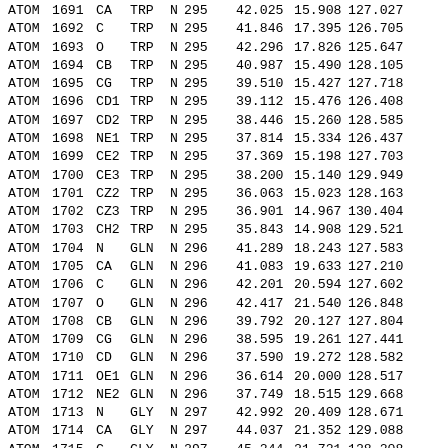| type | serial | name | res | chain | resseq | x | y | z |
| --- | --- | --- | --- | --- | --- | --- | --- | --- |
| ATOM | 1691 | CA | TRP | N | 295 | 42.025 | 15.908 | 127.027 |
| ATOM | 1692 | C | TRP | N | 295 | 41.846 | 17.395 | 126.705 |
| ATOM | 1693 | O | TRP | N | 295 | 42.296 | 17.826 | 125.647 |
| ATOM | 1694 | CB | TRP | N | 295 | 40.987 | 15.490 | 128.105 |
| ATOM | 1695 | CG | TRP | N | 295 | 39.510 | 15.427 | 127.718 |
| ATOM | 1696 | CD1 | TRP | N | 295 | 39.112 | 15.476 | 126.408 |
| ATOM | 1697 | CD2 | TRP | N | 295 | 38.446 | 15.260 | 128.585 |
| ATOM | 1698 | NE1 | TRP | N | 295 | 37.814 | 15.334 | 126.437 |
| ATOM | 1699 | CE2 | TRP | N | 295 | 37.369 | 15.198 | 127.703 |
| ATOM | 1700 | CE3 | TRP | N | 295 | 38.200 | 15.140 | 129.949 |
| ATOM | 1701 | CZ2 | TRP | N | 295 | 36.063 | 15.023 | 128.163 |
| ATOM | 1702 | CZ3 | TRP | N | 295 | 36.901 | 14.967 | 130.404 |
| ATOM | 1703 | CH2 | TRP | N | 295 | 35.843 | 14.908 | 129.521 |
| ATOM | 1704 | N | GLN | N | 296 | 41.289 | 18.243 | 127.583 |
| ATOM | 1705 | CA | GLN | N | 296 | 41.083 | 19.633 | 127.210 |
| ATOM | 1706 | C | GLN | N | 296 | 42.201 | 20.594 | 127.602 |
| ATOM | 1707 | O | GLN | N | 296 | 42.417 | 21.540 | 126.848 |
| ATOM | 1708 | CB | GLN | N | 296 | 39.792 | 20.127 | 127.804 |
| ATOM | 1709 | CG | GLN | N | 296 | 38.595 | 19.261 | 127.441 |
| ATOM | 1710 | CD | GLN | N | 296 | 37.590 | 19.272 | 128.582 |
| ATOM | 1711 | OE1 | GLN | N | 296 | 36.614 | 20.000 | 128.517 |
| ATOM | 1712 | NE2 | GLN | N | 296 | 37.749 | 18.515 | 129.668 |
| ATOM | 1713 | N | GLY | N | 297 | 42.992 | 20.409 | 128.671 |
| ATOM | 1714 | CA | GLY | N | 297 | 44.037 | 21.352 | 129.088 |
| ATOM | 1715 | C | GLY | N | 297 | 45.244 | 21.721 | 128.208 |
| ATOM | 1716 | O | GLY | N | 297 | 45.922 | 20.933 | 127.414 |
| ATOM | 1717 | N | SER | N | 298 | 45.255 | 23.044 | 128.338 |
| ATOM | 1718 | CA | SER | N | 298 | 46.329 | 23.900 | 127.915 |
| ATOM | 1719 | C | SER | N | 298 | 46.858 | 24.689 | 129.096 |
| ATOM | 1720 | O | SER | N | 298 | 47.792 | 25.481 | 128.937 |